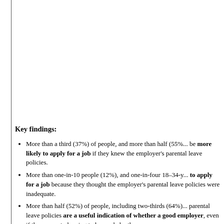Key findings:
More than a third (37%) of people, and more than half (55%) ... be more likely to apply for a job if they knew the employer's parental leave policies.
More than one-in-10 people (12%), and one-in-four 18–34-y... to apply for a job because they thought the employer's parental leave policies were inadequate.
More than half (52%) of people, including two-thirds (64%)... parental leave policies are a useful indication of whether a good employer, even if they are not planning to have a baby themselves.
Around one-in-10 people (8%) do not... also provide job offers...